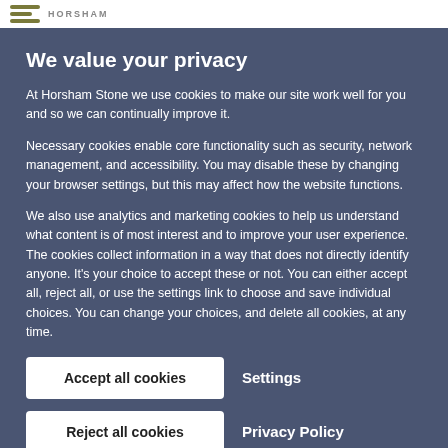HORSHAM
We value your privacy
At Horsham Stone we use cookies to make our site work well for you and so we can continually improve it.
Necessary cookies enable core functionality such as security, network management, and accessibility. You may disable these by changing your browser settings, but this may affect how the website functions.
We also use analytics and marketing cookies to help us understand what content is of most interest and to improve your user experience. The cookies collect information in a way that does not directly identify anyone. It's your choice to accept these or not. You can either accept all, reject all, or use the settings link to choose and save individual choices. You can change your choices, and delete all cookies, at any time.
Accept all cookies
Settings
Reject all cookies
Privacy Policy